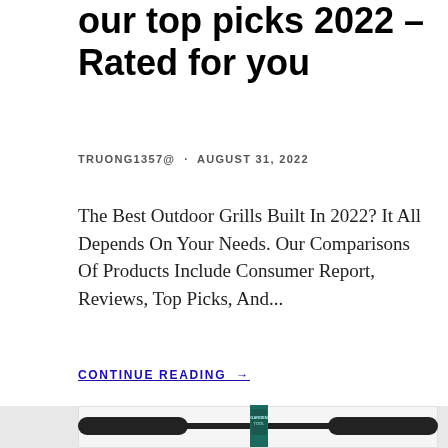our top picks 2022 – Rated for you
TRUONG1357@ · AUGUST 31, 2022
The Best Outdoor Grills Built In 2022? It All Depends On Your Needs. Our Comparisons Of Products Include Consumer Report, Reviews, Top Picks, And...
CONTINUE READING →
[Figure (photo): A green T-bar garden tool with foam-grip handles on a light gray background card]